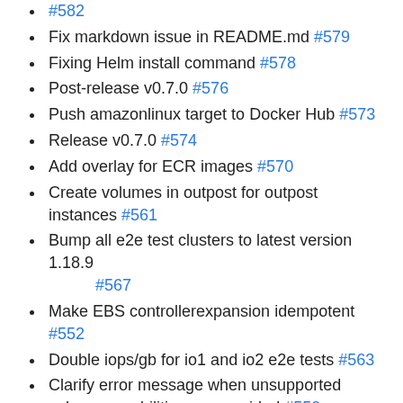#582
Fix markdown issue in README.md #579
Fixing Helm install command #578
Post-release v0.7.0 #576
Push amazonlinux target to Docker Hub #573
Release v0.7.0 #574
Add overlay for ECR images #570
Create volumes in outpost for outpost instances #561
Bump all e2e test clusters to latest version 1.18.9 #567
Make EBS controllerexpansion idempotent #552
Double iops/gb for io1 and io2 e2e tests #563
Clarify error message when unsupported volume capabilities are provided #550
Remove migration go.mod #562
Add EBS IO2 support #558
Skip sc1 and st1 tests, only test xfs #559
Vendor deps #555
aws-ebs-csi-driver/templates/controller.yaml: fix